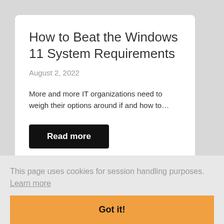How to Beat the Windows 11 System Requirements
August 2, 2022
More and more IT organizations need to weigh their options around if and how to…
Read more
This page uses cookies for session handling purposes.  Learn more
Got it!